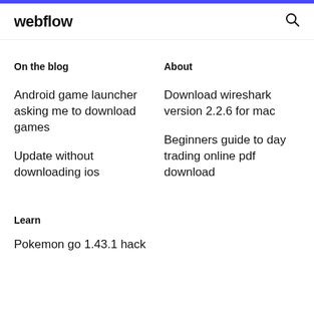webflow
On the blog
Android game launcher asking me to download games
Update without downloading ios
About
Download wireshark version 2.2.6 for mac
Beginners guide to day trading online pdf download
Learn
Pokemon go 1.43.1 hack